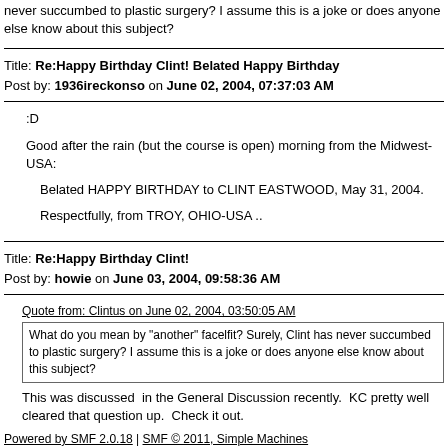never succumbed to plastic surgery? I assume this is a joke or does anyone else know about this subject?
Title: Re:Happy Birthday Clint! Belated Happy Birthday
Post by: 1936ireckonso on June 02, 2004, 07:37:03 AM
:D

Good after the rain (but the course is open) morning from the Midwest-USA:

Belated HAPPY BIRTHDAY to CLINT EASTWOOD, May 31, 2004.

Respectfully, from TROY, OHIO-USA ..
Title: Re:Happy Birthday Clint!
Post by: howie on June 03, 2004, 09:58:36 AM
Quote from: Clintus on June 02, 2004, 03:50:05 AM
What do you mean by "another" facelfit? Surely, Clint has never succumbed to plastic surgery? I assume this is a joke or does anyone else know about this subject?
This was discussed  in the General Discussion recently.  KC pretty well cleared that question up.  Check it out.
Powered by SMF 2.0.18 | SMF © 2011, Simple Machines